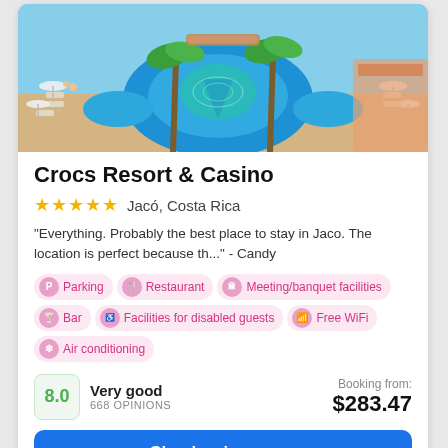[Figure (photo): Aerial view of a large circular resort pool surrounded by lounge chairs, umbrellas, and palm trees at Crocs Resort & Casino]
Crocs Resort & Casino
★★★★★ Jacó, Costa Rica
"Everything. Probably the best place to stay in Jaco. The location is perfect because th..." - Candy
Parking
Restaurant
Meeting/banquet facilities
Bar
Facilities for disabled guests
Free WiFi
Air conditioning
8.0 Very good 668 OPINIONS
Booking from: $283.47
Check prices now